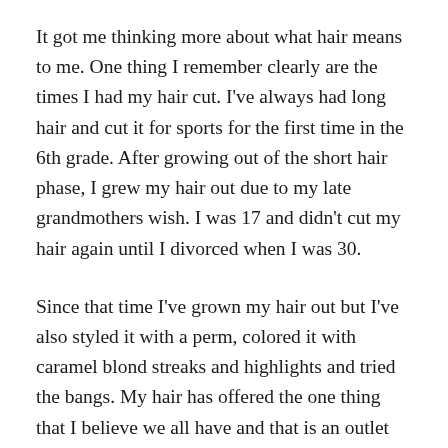It got me thinking more about what hair means to me. One thing I remember clearly are the times I had my hair cut. I've always had long hair and cut it for sports for the first time in the 6th grade. After growing out of the short hair phase, I grew my hair out due to my late grandmothers wish. I was 17 and didn't cut my hair again until I divorced when I was 30.
Since that time I've grown my hair out but I've also styled it with a perm, colored it with caramel blond streaks and highlights and tried the bangs. My hair has offered the one thing that I believe we all have and that is an outlet and/or freedom of expression.